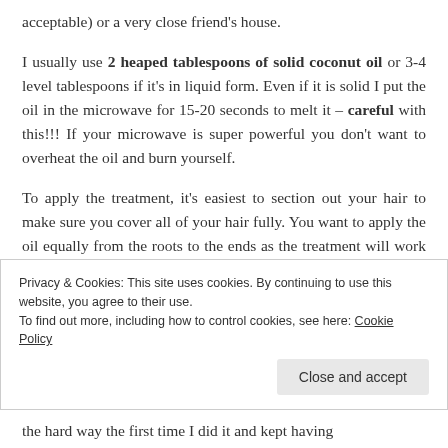acceptable) or a very close friend's house.
I usually use 2 heaped tablespoons of solid coconut oil or 3-4 level tablespoons if it's in liquid form. Even if it is solid I put the oil in the microwave for 15-20 seconds to melt it – careful with this!!! If your microwave is super powerful you don't want to overheat the oil and burn yourself.
To apply the treatment, it's easiest to section out your hair to make sure you cover all of your hair fully. You want to apply the oil equally from the roots to the ends as the treatment will work on keeping the
Privacy & Cookies: This site uses cookies. By continuing to use this website, you agree to their use.
To find out more, including how to control cookies, see here: Cookie Policy
the hard way the first time I did it and kept having